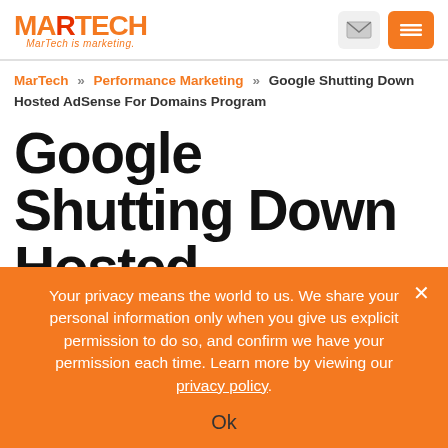MARTECH — MarTech is marketing.
MarTech » Performance Marketing » Google Shutting Down Hosted AdSense For Domains Program
Google Shutting Down Hosted AdSense For Domains Program
Your privacy means the world to us. We share your personal information only when you give us explicit permission to do so, and confirm we have your permission each time. Learn more by viewing our privacy policy.
Ok